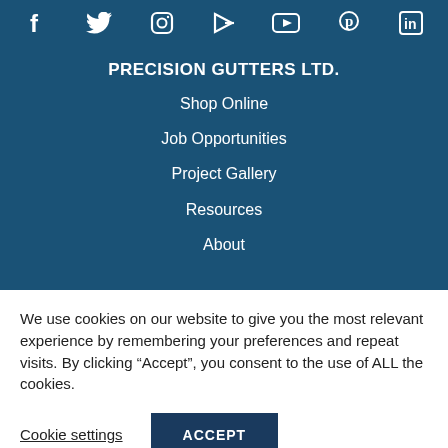Social media icons: Facebook, Twitter, Instagram, Forward, YouTube, Pinterest, LinkedIn
PRECISION GUTTERS LTD.
Shop Online
Job Opportunities
Project Gallery
Resources
About
We use cookies on our website to give you the most relevant experience by remembering your preferences and repeat visits. By clicking “Accept”, you consent to the use of ALL the cookies.
Cookie settings
ACCEPT